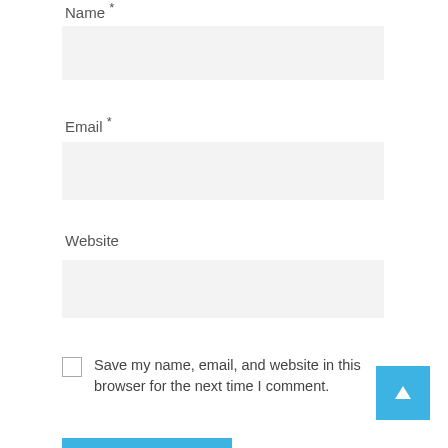Name *
[Figure (other): Empty input field for Name]
Email *
[Figure (other): Empty input field for Email]
Website
[Figure (other): Empty input field for Website]
Save my name, email, and website in this browser for the next time I comment.
[Figure (other): Blue scroll-to-top button with upward arrow]